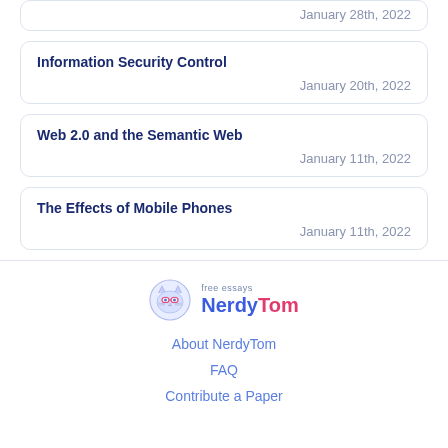January 28th, 2022
Information Security Control
January 20th, 2022
Web 2.0 and the Semantic Web
January 11th, 2022
The Effects of Mobile Phones
January 11th, 2022
[Figure (logo): NerdyTom free essays logo with cat mascot icon]
About NerdyTom
FAQ
Contribute a Paper